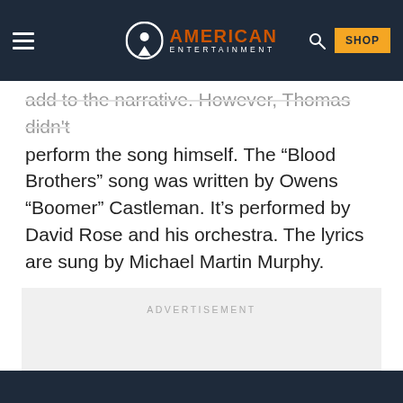American Entertainment — SHOP
add to the narrative. However, Thomas didn't perform the song himself. The “Blood Brothers” song was written by Owens “Boomer” Castleman. It’s performed by David Rose and his orchestra. The lyrics are sung by Michael Martin Murphy.
ADVERTISEMENT